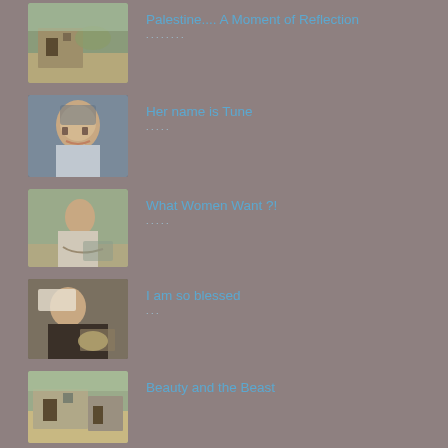[Figure (photo): Stone building/ruins in arid landscape]
Palestine.... A Moment of Reflection
[Figure (photo): Young child making gesture with finger]
Her name is Tune
[Figure (photo): Person bending over looking at something on the ground]
What Women Want ?!
[Figure (photo): Elderly woman in headscarf handling food]
I am so blessed
[Figure (photo): Stone building exterior view]
Beauty and the Beast